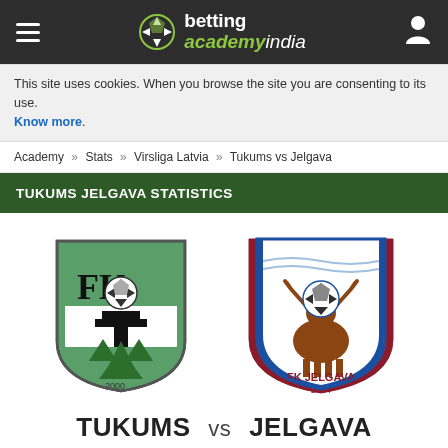betting academy india
This site uses cookies. When you browse the site you are consenting to its use. Know more.
Academy » Stats » Virsliga Latvia » Tukums vs Jelgava
TUKUMS JELGAVA STATISTICS
[Figure (logo): FK Tukums football club crest — shield shape with green background, letters FK and T, soccer ball, and pine trees, year 2000]
[Figure (logo): FK Jelgava football club crest — blue bordered shield with moose head holding soccer ball, text FK JELGAVA, year 2004]
TUKUMS vs JELGAVA